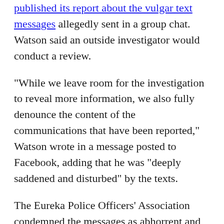published its report about the vulgar text messages allegedly sent in a group chat. Watson said an outside investigator would conduct a review.
"While we leave room for the investigation to reveal more information, we also fully denounce the content of the communications that have been reported," Watson wrote in a message posted to Facebook, adding that he was "deeply saddened and disturbed" by the texts.
The Eureka Police Officers' Association condemned the messages as abhorrent and egregious, and urged a fair and prompt investigation.
Reyna-Sanchez and Meftah did not comment to The Bee. The Associated Press could not reach the officers for comment Thursday. Messages to the police and police union seeking someone to speak on their behalf